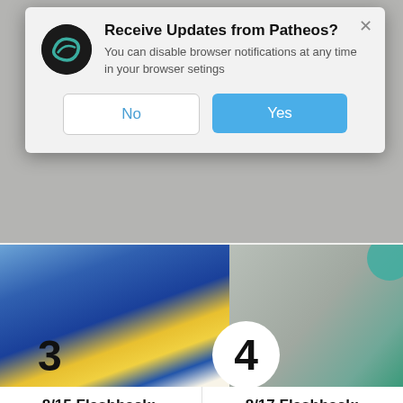[Figure (screenshot): Browser notification permission dialog for Patheos website, with 'No' and 'Yes' buttons]
[Figure (screenshot): Website content showing numbered list items (3 and 4) with article thumbnails showing a blue/gold eagle logo and a teal circular image]
3
4
8/15 Flashback: Fashists
SLACKTIVIST
8/17 Flashback: Majority report
SLACKTIVIST
ADVERTISEMENT – feature continues below
[Figure (screenshot): Advertisement banner: GET OUR NEW VIDEO SERIES with gradient orange-red background]
[Figure (screenshot): Advertisement banner: KISS BORING LIPS GOODBYE with SHOP NOW button and Macy's logo]